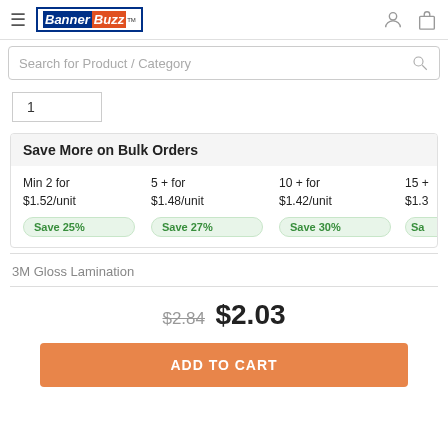BannerBuzz
Search for Product / Category
1
Save More on Bulk Orders
| Min 2 for $1.52/unit Save 25% | 5 + for $1.48/unit Save 27% | 10 + for $1.42/unit Save 30% | 15 + $1.3... Sa... |
| --- | --- | --- | --- |
3M Gloss Lamination
$2.84  $2.03
ADD TO CART